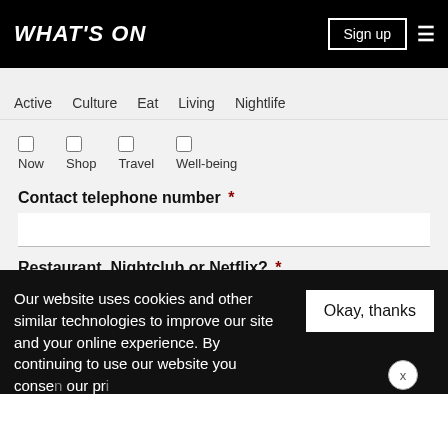WHAT'S ON
Active   Culture   Eat   Living   Nightlife
Now   Shop   Travel   Well-being
Contact telephone number *
Restaurant, Nightclub or Netflix? *
Our website uses cookies and other similar technologies to improve our site and your online experience. By continuing to use our website you conse... our pr...